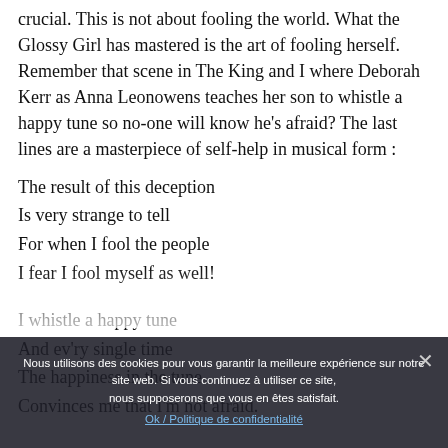crucial. This is not about fooling the world. What the Glossy Girl has mastered is the art of fooling herself. Remember that scene in The King and I where Deborah Kerr as Anna Leonowens teaches her son to whistle a happy tune so no-one will know he's afraid? The last lines are a masterpiece of self-help in musical form :
The result of this deception
Is very strange to tell
For when I fool the people
I fear I fool myself as well!

I whistle a happy tune
And ev'ry single time
The happiness in the tune
Convinces me that I'm not afraid.
Nous utilisons des cookies pour vous garantir la meilleure expérience sur notre site web. Si vous continuez à utiliser ce site, nous supposerons que vous en êtes satisfait.